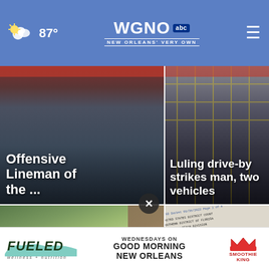87° WGNO abc NEW ORLEANS' VERY OWN
[Figure (screenshot): News card top-left: Offensive Lineman of the ...]
Offensive Lineman of the ...
[Figure (screenshot): News card top-right: Luling drive-by strikes man, two vehicles]
Luling drive-by strikes man, two vehicles
[Figure (screenshot): News card bottom-left: As Africa's climate warms, rich countries ple...]
As Africa's climate warms, rich countries ple...
[Figure (screenshot): News card bottom-right: Judge grants Trump bid for special master ...]
Judge grants Trump bid for special master ...
[Figure (infographic): Ad banner: FUELED wellness + nutrition / WEDNESDAYS ON GOOD MORNING NEW ORLEANS / Smoothie King]